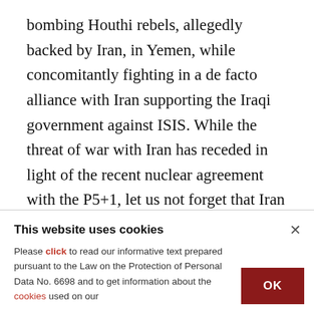bombing Houthi rebels, allegedly backed by Iran, in Yemen, while concomitantly fighting in a de facto alliance with Iran supporting the Iraqi government against ISIS. While the threat of war with Iran has receded in light of the recent nuclear agreement with the P5+1, let us not forget that Iran is the principal backer of Syrian President Bashar Assad, and the West has been demanding his head on a platter for years now. Moreover, Iran now wants to join the international coalition against
This website uses cookies
Please click to read our informative text prepared pursuant to the Law on the Protection of Personal Data No. 6698 and to get information about the cookies used on our